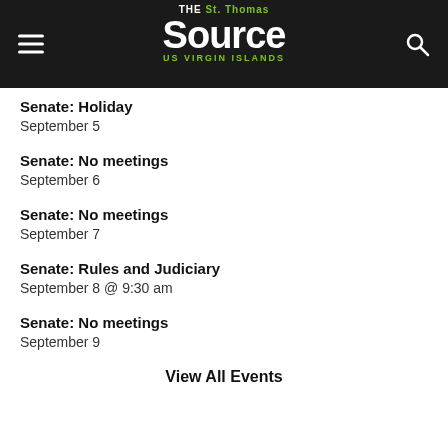The St. Thomas Source – US Virgin Islands
Senate: Holiday
September 5
Senate: No meetings
September 6
Senate: No meetings
September 7
Senate: Rules and Judiciary
September 8 @ 9:30 am
Senate: No meetings
September 9
View All Events